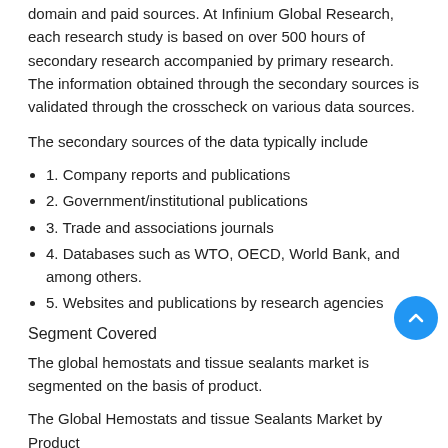domain and paid sources. At Infinium Global Research, each research study is based on over 500 hours of secondary research accompanied by primary research. The information obtained through the secondary sources is validated through the crosscheck on various data sources.
The secondary sources of the data typically include
1. Company reports and publications
2. Government/institutional publications
3. Trade and associations journals
4. Databases such as WTO, OECD, World Bank, and among others.
5. Websites and publications by research agencies
Segment Covered
The global hemostats and tissue sealants market is segmented on the basis of product.
The Global Hemostats and tissue Sealants Market by Product
Hemostats